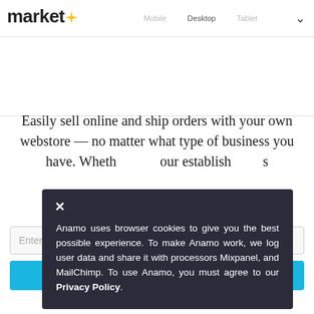market★  Mobile  Desktop  Tablet  ∨
Easily sell online and ship orders with your own webstore — no matter what type of business you have. Whether your establish...
Enter your...
Anamo uses browser cookies to give you the best possible experience. To make Anamo work, we log user data and share it with processors Mixpanel, and MailChimp. To use Anamo, you must agree to our Privacy Policy.
Free 14-day trial – no credit card required.